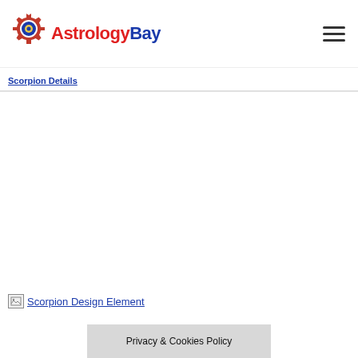[Figure (logo): AstrologyBay logo with gear/sun icon in red, blue, yellow and the text 'AstrologyBay' in red and blue]
Hamburger menu icon (three horizontal lines)
Scorpion Details
[Figure (photo): Broken image placeholder labeled 'Scorpion Design Element']
Privacy & Cookies Policy